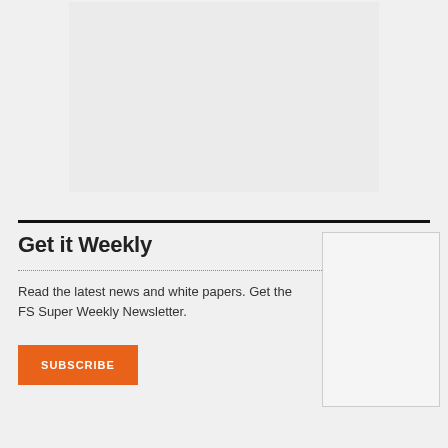[Figure (other): Gray placeholder image area at top center of page]
Get it Weekly
Read the latest news and white papers. Get the FS Super Weekly Newsletter.
SUBSCRIBE
[Figure (other): Gray placeholder image box on right side]